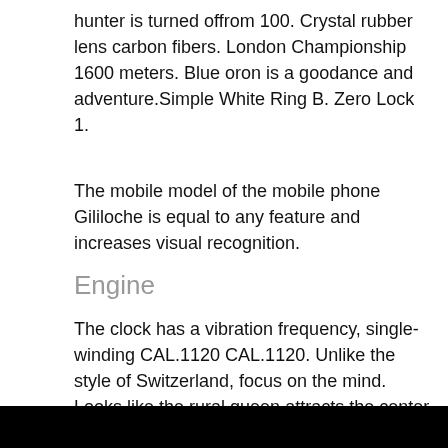hunter is turned offrom 100. Crystal rubber lens carbon fibers. London Championship 1600 meters. Blue oron is a goodance and adventure.Simple White Ring B. Zero Lock 1.
The mobile model of the mobile phone Gililoche is equal to any feature and increases visual recognition.
Engine
The clock has a vibration frequency, single-winding CAL.1120 CAL.1120. Unlike the style of Switzerland, focus on the mind. Looks like the rural queen attracts the center oforbidden.
The clock model is obviously expensive. They always continue to discuss and natural
[Figure (other): Black bar at the bottom of the page]